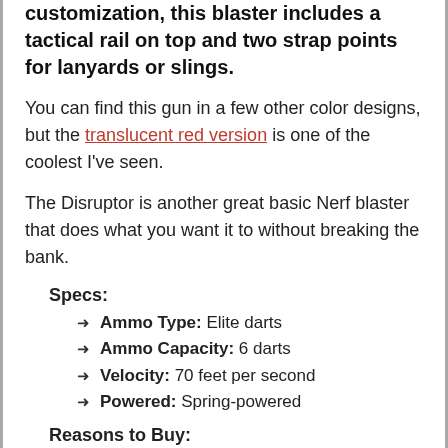customization, this blaster includes a tactical rail on top and two strap points for lanyards or slings.
You can find this gun in a few other color designs, but the translucent red version is one of the coolest I've seen.
The Disruptor is another great basic Nerf blaster that does what you want it to without breaking the bank.
Specs:
Ammo Type: Elite darts
Ammo Capacity: 6 darts
Velocity: 70 feet per second
Powered: Spring-powered
Reasons to Buy:
Low cost
Fast firing (slam-fire)